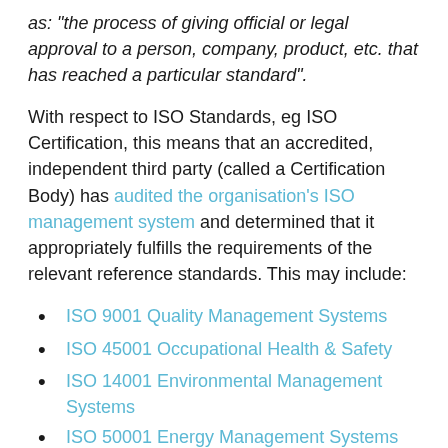as: “the process of giving official or legal approval to a person, company, product, etc. that has reached a particular standard”.
With respect to ISO Standards, eg ISO Certification, this means that an accredited, independent third party (called a Certification Body) has audited the organisation’s ISO management system and determined that it appropriately fulfills the requirements of the relevant reference standards. This may include:
ISO 9001 Quality Management Systems
ISO 45001 Occupational Health & Safety
ISO 14001 Environmental Management Systems
ISO 50001 Energy Management Systems
ISO 55001 Asset Management Systems